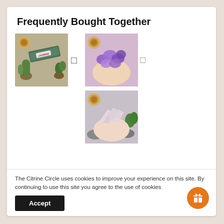Frequently Bought Together
[Figure (photo): Product image of incense sticks in green packaging on a wooden surface with small cactus plant]
[Figure (photo): Hand holding tumbled amethyst purple crystals]
[Figure (photo): Hand holding rough rose quartz crystals]
The Citrine Circle uses cookies to improve your experience on this site. By continuing to use this site you agree to the use of cookies
Accept